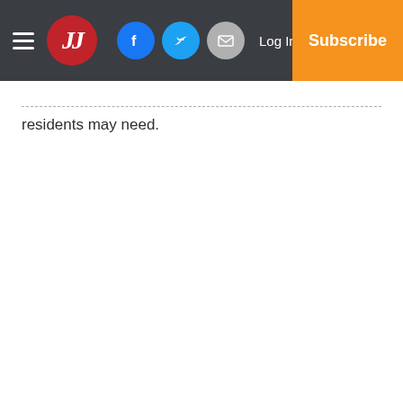JJ | Log In | Subscribe | Social icons: Facebook, Twitter, Email
residents may need.